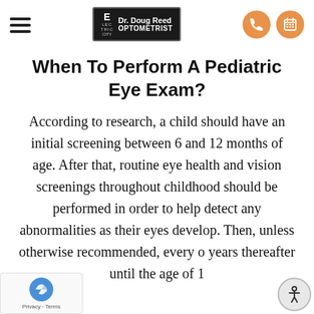Dr. Doug Reed OPTOMETRIST — navigation bar with logo and icons
When To Perform A Pediatric Eye Exam?
According to research, a child should have an initial screening between 6 and 12 months of age. After that, routine eye health and vision screenings throughout childhood should be performed in order to help detect any abnormalities as their eyes develop. Then, unless otherwise recommended, every o years thereafter until the age of 1